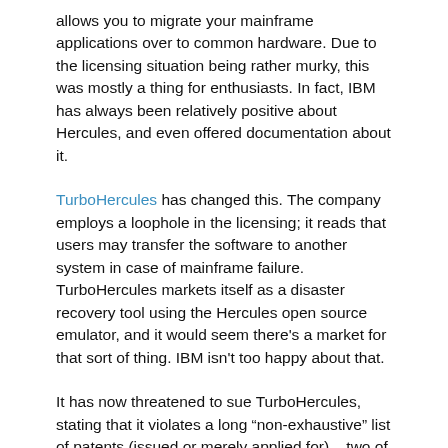allows you to migrate your mainframe applications over to common hardware. Due to the licensing situation being rather murky, this was mostly a thing for enthusiasts. In fact, IBM has always been relatively positive about Hercules, and even offered documentation about it.
TurboHercules has changed this. The company employs a loophole in the licensing; it reads that users may transfer the software to another system in case of mainframe failure. TurboHercules markets itself as a disaster recovery tool using the Hercules open source emulator, and it would seem there's a market for that sort of thing. IBM isn't too happy about that.
It has now threatened to sue TurboHercules, stating that it violates a long “non-exhaustive” list of patents (issued or merely applied for) – two of which are also among the 500 patents IBM promised not to sue open source companies over. TurboHercules’ founder had earlier sought to resolve the situation, and had asked IBM if they could come up with a solution for the licensing issue together.